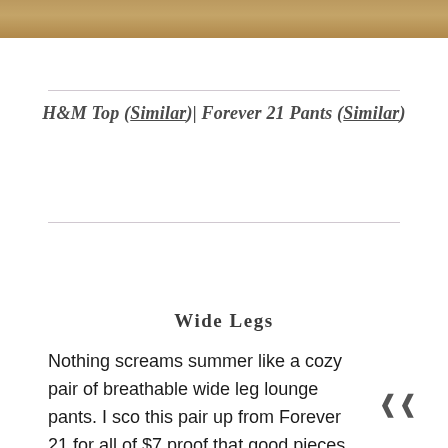[Figure (photo): Partial photo strip at top of page showing a warm-toned image (golden/tan tones), likely a fashion/lifestyle photo cropped at the top edge.]
H&M Top (Similar)| Forever 21 Pants (Similar)
Wide Legs
Nothing screams summer like a cozy pair of breathable wide leg lounge pants. I sco this pair up from Forever 21 for all of $7 proof that good pieces don't have to be expensive. What I love most about wide leg